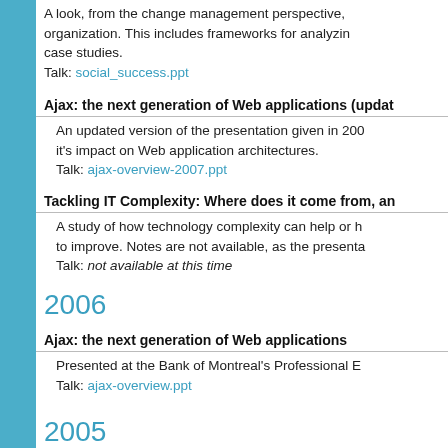A look, from the change management perspective, organization. This includes frameworks for analyzing case studies. Talk: social_success.ppt
Ajax: the next generation of Web applications (update
An updated version of the presentation given in 200 it's impact on Web application architectures. Talk: ajax-overview-2007.ppt
Tackling IT Complexity: Where does it come from, an
A study of how technology complexity can help or h to improve. Notes are not available, as the presenta Talk: not available at this time
2006
Ajax: the next generation of Web applications
Presented at the Bank of Montreal's Professional E Talk: ajax-overview.ppt
2005